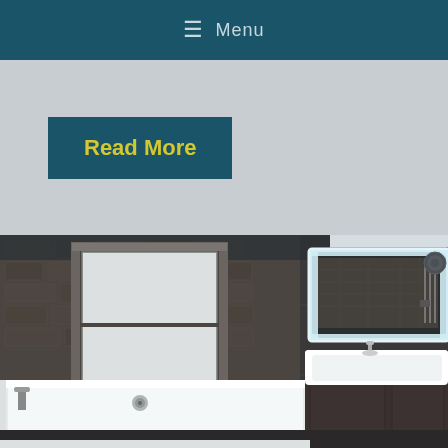≡ Menu
Read More
[Figure (photo): Modern bathroom with dark stone-look tiled walls, a white freestanding bathtub, a frosted glass window with dark surround, a large illuminated backlit mirror on the right wall, and a white basin on a dark vanity unit. The room has recessed ceiling lighting and a towel radiator visible in the mirror reflection.]